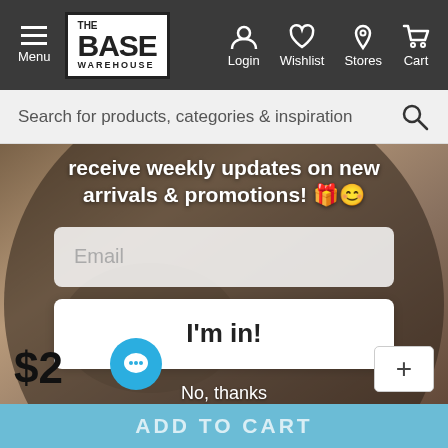Menu | THE BASE WAREHOUSE | Login | Wishlist | Stores | Cart
Search for products, categories & inspiration
receive weekly updates on new arrivals & promotions! 🎁😊
Email
I'm in!
No, thanks
$2
ADD TO CART